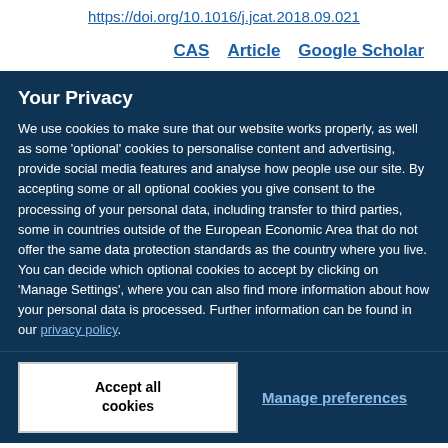https://doi.org/10.1016/j.jcat.2018.09.021
CAS   Article   Google Scholar
Your Privacy
We use cookies to make sure that our website works properly, as well as some 'optional' cookies to personalise content and advertising, provide social media features and analyse how people use our site. By accepting some or all optional cookies you give consent to the processing of your personal data, including transfer to third parties, some in countries outside of the European Economic Area that do not offer the same data protection standards as the country where you live. You can decide which optional cookies to accept by clicking on 'Manage Settings', where you can also find more information about how your personal data is processed. Further information can be found in our privacy policy.
Accept all cookies
Manage preferences